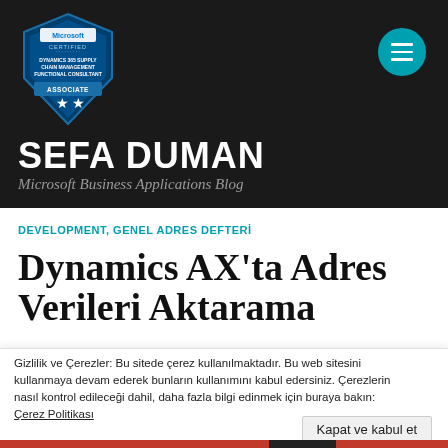[Figure (logo): Microsoft Certified badge — Dynamics 365 Supply Chain Management Functional Consultant Associate, shield shape with two stars]
SEFA DUMAN
Microsoft Business Applications Blog
DEVELOPMENT, GENEL ADRES DEFTERİ
Dynamics AX'ta Adres Verileri Aktarma
Gizlilik ve Çerezler: Bu sitede çerez kullanılmaktadır. Bu web sitesini kullanmaya devam ederek bunların kullanımını kabul edersiniz. Çerezlerin nasıl kontrol edileceği dahil, daha fazla bilgi edinmek için buraya bakın: Çerez Politikası
Kapat ve kabul et